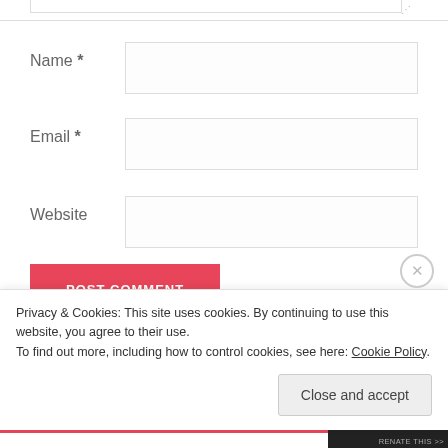[Figure (screenshot): Bottom of a web comment form showing Name, Email, Website fields, a POST COMMENT button, and two checkbox options for email notifications.]
Name *
Email *
Website
POST COMMENT
Notify me of new comments via email.
Notify me of new posts via email.
Privacy & Cookies: This site uses cookies. By continuing to use this website, you agree to their use.
To find out more, including how to control cookies, see here: Cookie Policy
Close and accept